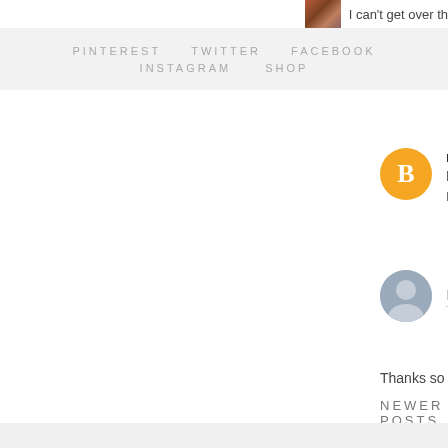[Figure (photo): Small thumbnail image in top right corner, person photo]
I can't get over th
PINTEREST   TWITTER   FACEBOOK
INSTAGRAM   SHOP
rachel @ blacke
Looks so cozy a
Reply
[Figure (illustration): Default user avatar - grey silhouette circle]
Enter Comm
Thanks so much for taking th
NEWER POSTS